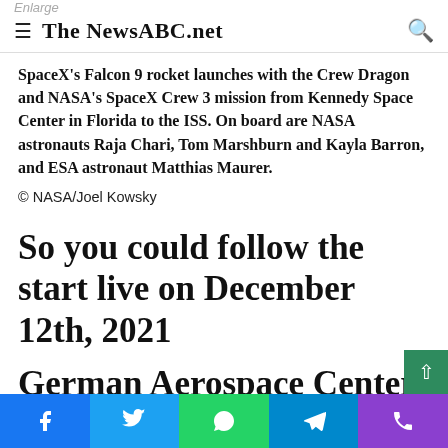The NewsABC.net
SpaceX's Falcon 9 rocket launches with the Crew Dragon and NASA's SpaceX Crew 3 mission from Kennedy Space Center in Florida to the ISS. On board are NASA astronauts Raja Chari, Tom Marshburn and Kayla Barron, and ESA astronaut Matthias Maurer.
© NASA/Joel Kowsky
So you could follow the start live on December 12th, 2021
German Aerospace Center DLR
...